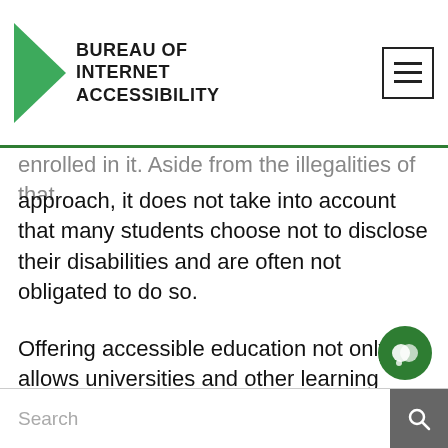BUREAU OF INTERNET ACCESSIBILITY
enrolled in it. Aside from the illegalities of that approach, it does not take into account that many students choose not to disclose their disabilities and are often not obligated to do so.
Offering accessible education not only allows universities and other learning institutions to be in compliance the law, but also improves on the success of their students with and without disabilities.